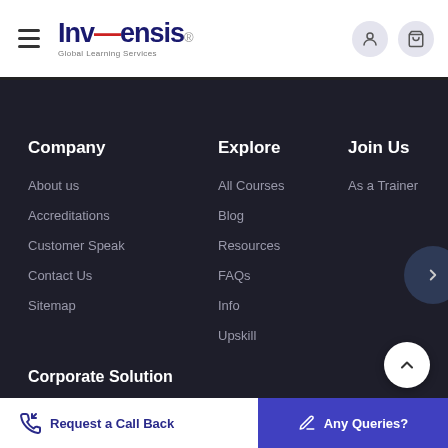Invensis Global Learning Services
Company
About us
Accreditations
Customer Speak
Contact Us
Sitemap
Explore
All Courses
Blog
Resources
FAQs
Info
Upskill
Join Us
As a Trainer
Corporate Solution
Request a Call Back
Any Queries?